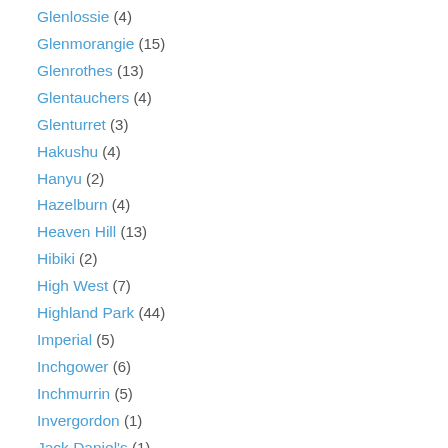Glenlossie (4)
Glenmorangie (15)
Glenrothes (13)
Glentauchers (4)
Glenturret (3)
Hakushu (4)
Hanyu (2)
Hazelburn (4)
Heaven Hill (13)
Hibiki (2)
High West (7)
Highland Park (44)
Imperial (5)
Inchgower (6)
Inchmurrin (5)
Invergordon (1)
Jack Daniel's (1)
Jameson (4)
Jefferson's (2)
Jim Beam (6)